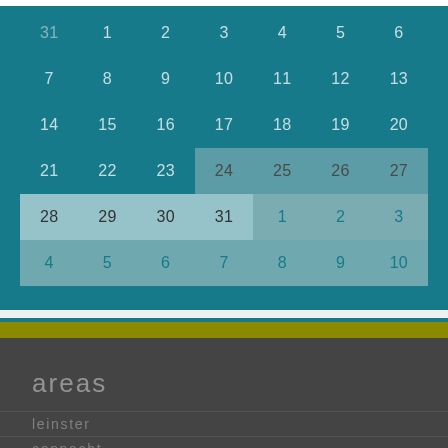| 31 | 1 | 2 | 3 | 4 | 5 | 6 |
| 7 | 8 | 9 | 10 | 11 | 12 | 13 |
| 14 | 15 | 16 | 17 | 18 | 19 | 20 |
| 21 | 22 | 23 | 24 | 25 | 26 | 27 |
| 28 | 29 | 30 | 31 | 1 | 2 | 3 |
| 4 | 5 | 6 | 7 | 8 | 9 | 10 |
areas
leinster
connacht
ulster
munster
[Figure (illustration): Teal chat bot / robot icon with rounded rectangle body, small antenna on top, and two dot eyes with a smile]